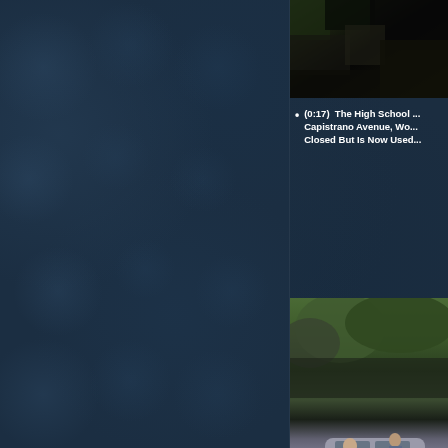[Figure (screenshot): Dark outdoor scene, top right portion of page, cropped at right edge]
(0:17)  The High School ... Capistrano Avenue, Wo... Closed But Is Now Used...
[Figure (photo): Two people standing near a car in a parking lot with trees in background]
[Figure (photo): Partial outdoor garden/yard scene, bottom right, cropped]